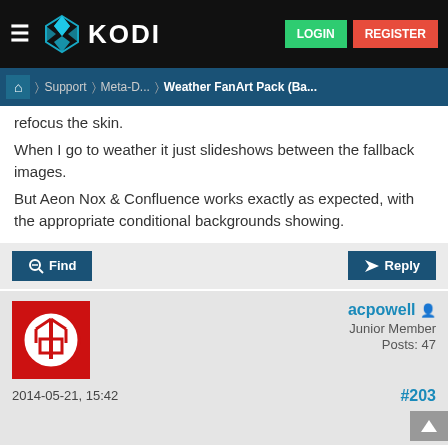≡  KODI   LOGIN  REGISTER
🏠 > Support > Meta-D... > Weather FanArt Pack (Ba...
refocus the skin.
When I go to weather it just slideshows between the fallback images.
But Aeon Nox & Confluence works exactly as expected, with the appropriate conditional backgrounds showing.
Find   Reply
acpowell
Junior Member
Posts: 47
2014-05-21, 15:42
#203